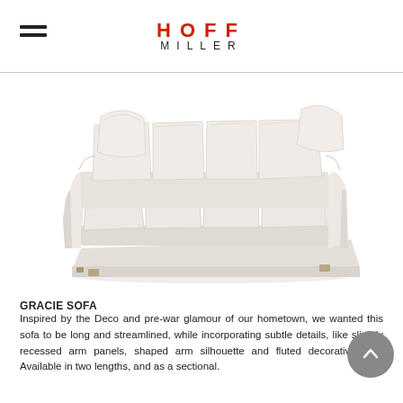HOFF MILLER
[Figure (photo): A large cream/off-white Gracie Sofa with four seat cushions, four back cushions in a slightly fluffier style, sloped arms with recessed arm panels, and small brass/gold decorative fluted feet. The sofa is photographed on a white background at a slight angle.]
GRACIE SOFA
Inspired by the Deco and pre-war glamour of our hometown, we wanted this sofa to be long and streamlined, while incorporating subtle details, like slightly recessed arm panels, shaped arm silhouette and fluted decorative feet. Available in two lengths, and as a sectional.